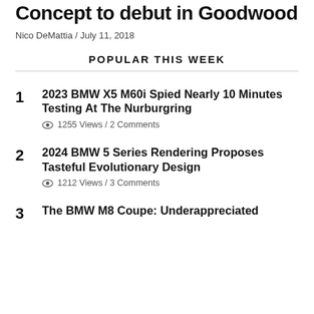Concept to debut in Goodwood
Nico DeMattia / July 11, 2018
POPULAR THIS WEEK
1. 2023 BMW X5 M60i Spied Nearly 10 Minutes Testing At The Nurburgring — 1255 Views / 2 Comments
2. 2024 BMW 5 Series Rendering Proposes Tasteful Evolutionary Design — 1212 Views / 3 Comments
3. The BMW M8 Coupe: Underappreciated